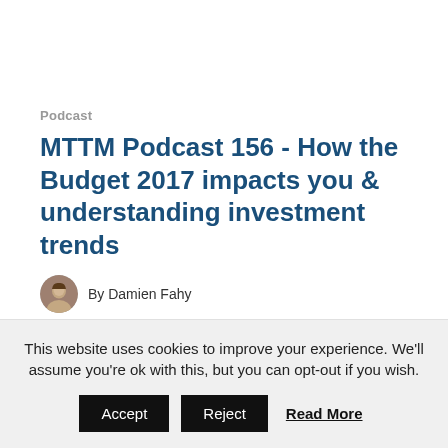Podcast
MTTM Podcast 156 - How the Budget 2017 impacts you & understanding investment trends
By Damien Fahy
1 min read   27 Nov 2017
Listen to Episode 156 Click on the media player below to listen to Episode 156 of the
This website uses cookies to improve your experience. We'll assume you're ok with this, but you can opt-out if you wish.